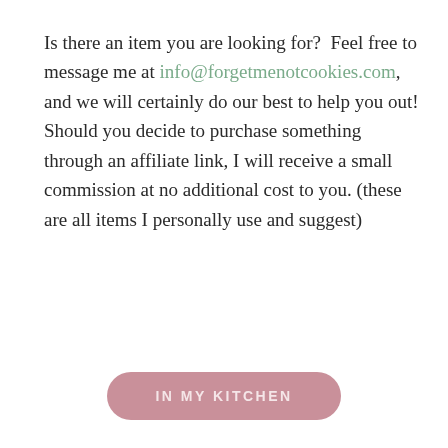Is there an item you are looking for?  Feel free to message me at info@forgetmenotcookies.com, and we will certainly do our best to help you out! Should you decide to purchase something through an affiliate link, I will receive a small commission at no additional cost to you. (these are all items I personally use and suggest)
IN MY KITCHEN